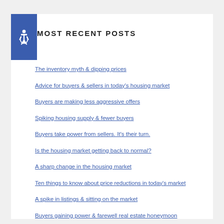MOST RECENT POSTS
The inventory myth & dipping prices
Advice for buyers & sellers in today's housing market
Buyers are making less aggressive offers
Spiking housing supply & fewer buyers
Buyers take power from sellers. It's their turn.
Is the housing market getting back to normal?
A sharp change in the housing market
Ten things to know about price reductions in today's market
A spike in listings & sitting on the market
Buyers gaining power & farewell real estate honeymoon